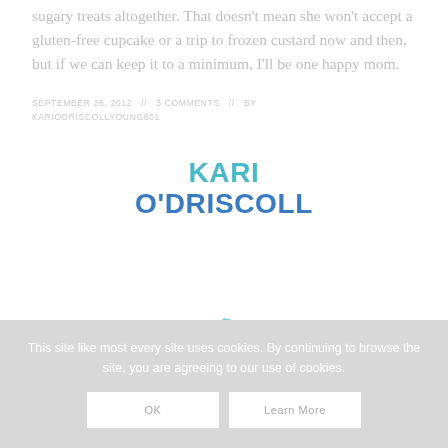sugary treats altogether. That doesn't mean she won't accept a gluten-free cupcake or a trip to frozen custard now and then, but if we can keep it to a minimum, I'll be one happy mom.
SEPTEMBER 26, 2012   3 COMMENTS   BY KARIODRISCOLLYOUNG601
[Figure (logo): Kari O'Driscoll logo in teal/blue bold uppercase letters]
[Figure (other): Partial loading spinner arc in light teal]
This site like most every site uses cookies. By continuing to browse the site, you are agreeing to our use of cookies.
OK   Learn More